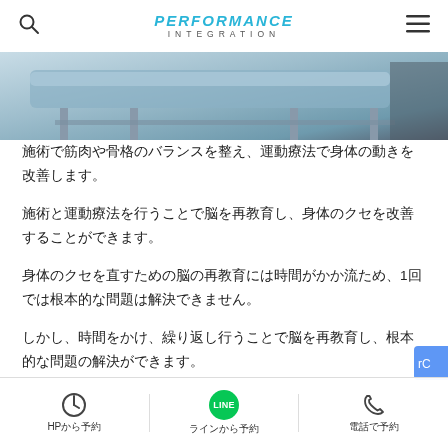PERFORMANCE INTEGRATION
[Figure (photo): Blue medical treatment table/chair with metal legs, partial view at top of page]
施術で筋肉や骨格のバランスを整え、運動療法で身体の動きを改善します。
施術と運動療法を行うことで脳を再教育し、身体のクセを改善することができます。
身体のクセを直すための脳の再教育には時間がかか流ため、1回では根本的な問題は解決できません。
しかし、時間をかけ、繰り返し行うことで脳を再教育し、根本的な問題の解決ができます。
当院では施術と運動療法の両方を行うことで脳の再教育をより効果的に達成します。
HPから予約　ラインから予約　電話で予約